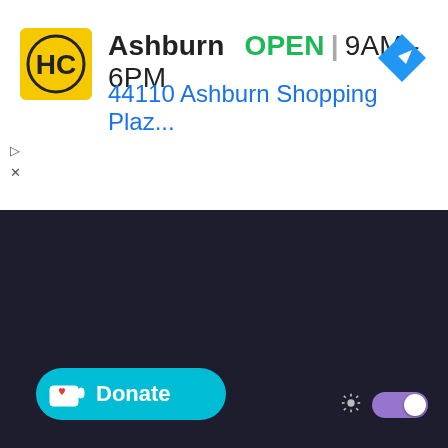[Figure (screenshot): Screenshot of a map application showing a business listing for 'Ashburn' location of HC (Haircut) business, marked as OPEN from 9AM-6PM, with address 44110 Ashburn Shopping Plaz..., a navigation/directions icon, and a dark map background with a Donate button and a sun/dark-mode toggle.]